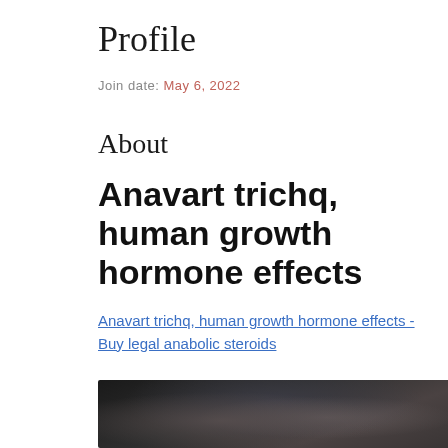Profile
Join date: May 6, 2022
About
Anavart trichq, human growth hormone effects
Anavart trichq, human growth hormone effects - Buy legal anabolic steroids
[Figure (photo): Blurred/dark photograph, partially visible at bottom of page]